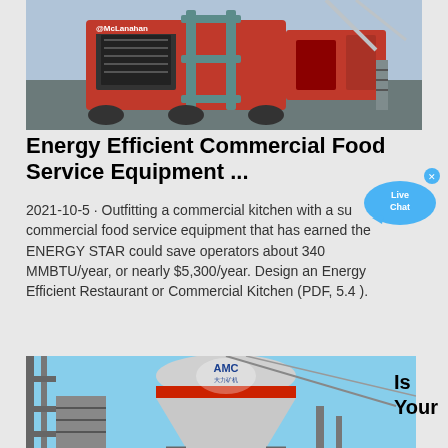[Figure (photo): McLanahan industrial machinery/equipment in red and grey colors outdoors]
Energy Efficient Commercial Food Service Equipment ...
2021-10-5 · Outfitting a commercial kitchen with a suite of commercial food service equipment that has earned the ENERGY STAR could save operators about 340 MMBTU/year, or nearly $5,300/year. Design an Energy Efficient Restaurant or Commercial Kitchen (PDF, 5.4 ).
Dapatkan harganya
[Figure (photo): AMC brand industrial cone crusher or mill on a construction/mining site with blue sky background]
Is Your